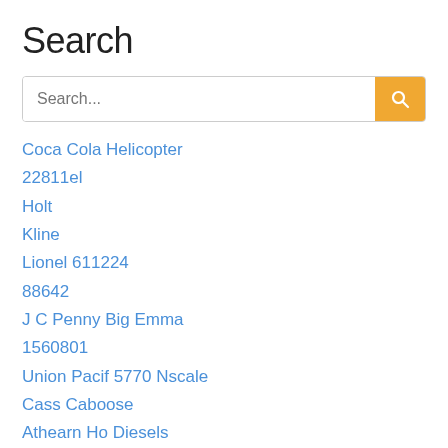Search
Coca Cola Helicopter
22811el
Holt
Kline
Lionel 611224
88642
J C Penny Big Emma
1560801
Union Pacif 5770 Nscale
Cass Caboose
Athearn Ho Diesels
Parts Ho Trains
3395288t 2
Air Riffle
Nth 2090025
Lionel A B A
Nice
Union Pa...